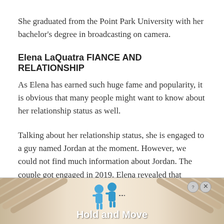She graduated from the Point Park University with her bachelor's degree in broadcasting on camera.
Elena LaQuatra FIANCE AND RELATIONSHIP
As Elena has earned such huge fame and popularity, it is obvious that many people might want to know about her relationship status as well.
Talking about her relationship status, she is engaged to a guy named Jordan at the moment. However, we could not find much information about Jordan. The couple got engaged in 2019. Elena revealed that Jordan proposed to
[Figure (other): Advertisement banner for 'Hold and Move' app/service with two blue cartoon figures and decorative striped background elements]